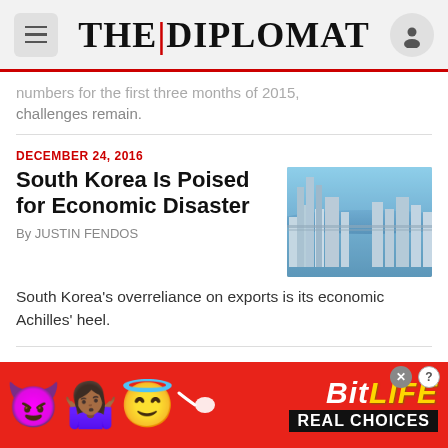THE DIPLOMAT
numbers for the first three months of 2015, challenges remain.
DECEMBER 24, 2016
South Korea Is Poised for Economic Disaster
By JUSTIN FENDOS
[Figure (photo): Aerial view of Seoul city skyline with Han River and high-rise buildings]
South Korea's overreliance on exports is its economic Achilles' heel.
OCTOBER 12, 2016
Can Samsung's Note 7 Discontinuation Shake the
[Figure (photo): Hand holding Samsung Note 7 smartphone]
[Figure (infographic): BitLife advertisement banner with emojis - REAL CHOICES]